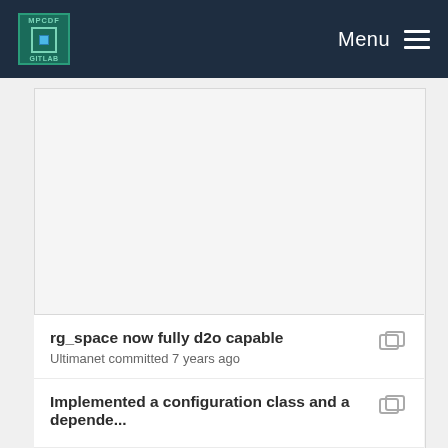MPCDF Menu
[Figure (other): Large empty grey content area (screenshot of a repository file browsing panel, content clipped)]
rg_space now fully d2o capable
Ultimanet committed 7 years ago
Implemented a configuration class and a depende...